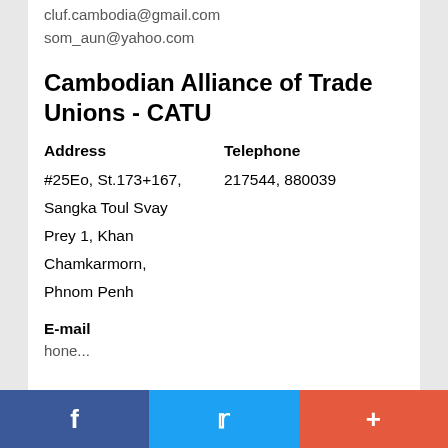cluf.cambodia@gmail.com
som_aun@yahoo.com
Cambodian Alliance of Trade Unions - CATU
| Address | Telephone |
| --- | --- |
| #25Eo, St.173+167, | 217544, 880039 |
| Sangka Toul Svay |  |
| Prey 1, Khan |  |
| Chamkarmorn, |  |
| Phnom Penh |  |
E-mail